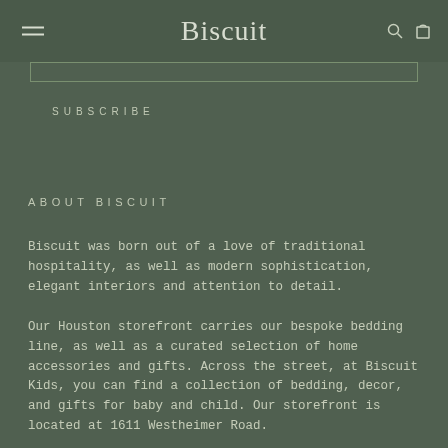Biscuit
SUBSCRIBE
ABOUT BISCUIT
Biscuit was born out of a love of traditional hospitality, as well as modern sophistication, elegant interiors and attention to detail.
Our Houston storefront carries our bespoke bedding line, as well as a curated selection of home accessories and gifts. Across the street, at Biscuit Kids, you can find a collection of bedding, decor, and gifts for baby and child. Our storefront is located at 1611 Westheimer Road.